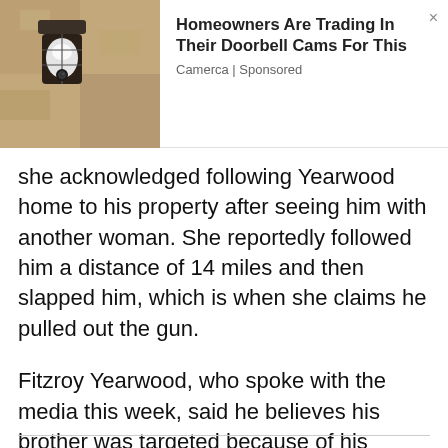[Figure (screenshot): Advertisement banner showing a wall-mounted security camera light fixture. Ad title: 'Homeowners Are Trading In Their Doorbell Cams For This'. Source: Camerca | Sponsored. Close button (×) in top right.]
she acknowledged following Yearwood home to his property after seeing him with another woman. She reportedly followed him a distance of 14 miles and then slapped him, which is when she claims he pulled out the gun.
Fitzroy Yearwood, who spoke with the media this week, said he believes his brother was targeted because of his status as 'persona non-grata' within the police department. Yearwood said his brother was treated unfairly but said he understood that he was being targeted because they could not get to him